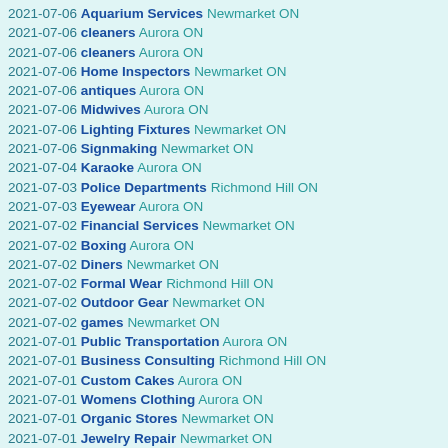2021-07-06 Aquarium Services Newmarket ON
2021-07-06 cleaners Aurora ON
2021-07-06 cleaners Aurora ON
2021-07-06 Home Inspectors Newmarket ON
2021-07-06 antiques Aurora ON
2021-07-06 Midwives Aurora ON
2021-07-06 Lighting Fixtures Newmarket ON
2021-07-06 Signmaking Newmarket ON
2021-07-04 Karaoke Aurora ON
2021-07-03 Police Departments Richmond Hill ON
2021-07-03 Eyewear Aurora ON
2021-07-02 Financial Services Newmarket ON
2021-07-02 Boxing Aurora ON
2021-07-02 Diners Newmarket ON
2021-07-02 Formal Wear Richmond Hill ON
2021-07-02 Outdoor Gear Newmarket ON
2021-07-02 games Newmarket ON
2021-07-01 Public Transportation Aurora ON
2021-07-01 Business Consulting Richmond Hill ON
2021-07-01 Custom Cakes Aurora ON
2021-07-01 Womens Clothing Aurora ON
2021-07-01 Organic Stores Newmarket ON
2021-07-01 Jewelry Repair Newmarket ON